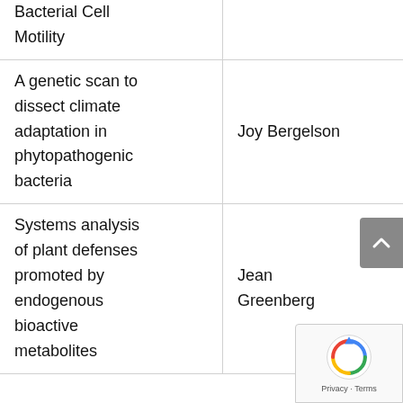| Title | Author |
| --- | --- |
| Bacterial Cell Motility |  |
| A genetic scan to dissect climate adaptation in phytopathogenic bacteria | Joy Bergelson |
| Systems analysis of plant defenses promoted by endogenous bioactive metabolites | Jean Greenberg |